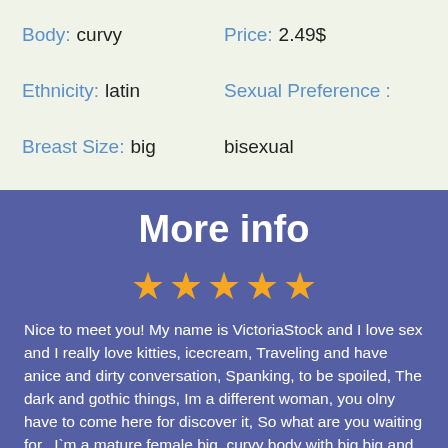Body: curvy
Price: 2.49$
Ethnicity: latin
Sexual Preference :
Breast Size: big
bisexual
More info
[Figure (illustration): Five gold star rating icons in a row]
Nice to meet you! My name is VictoriaStock and I love sex and I really love kitties, icecream, Traveling and have anice and dirty conversation, Spanking, to be spoiled, The dark and gothic things, Im a different woman, you olny have to come here for discover it, So what are you waiting for.. I`m a mature female big, curvy body with big big and blonde hair. I